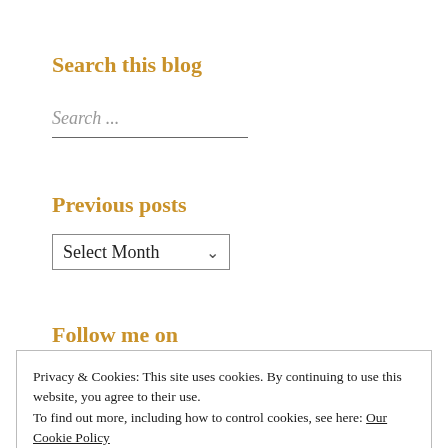Search this blog
Search ...
Previous posts
Select Month
Follow me on
Privacy & Cookies: This site uses cookies. By continuing to use this website, you agree to their use.
To find out more, including how to control cookies, see here: Our Cookie Policy
Close and accept